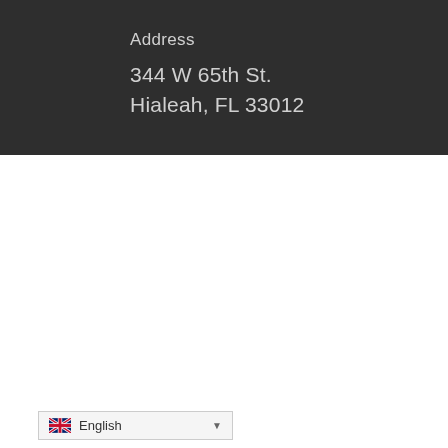Address
344 W 65th St.
Hialeah, FL 33012
English